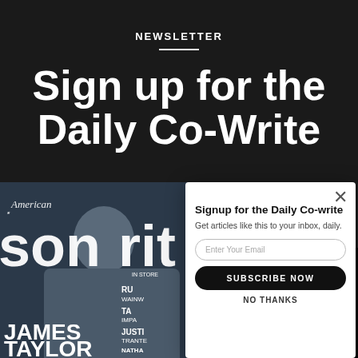NEWSLETTER
Sign up for the Daily Co-Write
[Figure (illustration): American Songwriter magazine cover featuring James Taylor]
Signup for the Daily Co-write
Get articles like this to your inbox, daily.
Enter Your Email
SUBSCRIBE NOW
NO THANKS